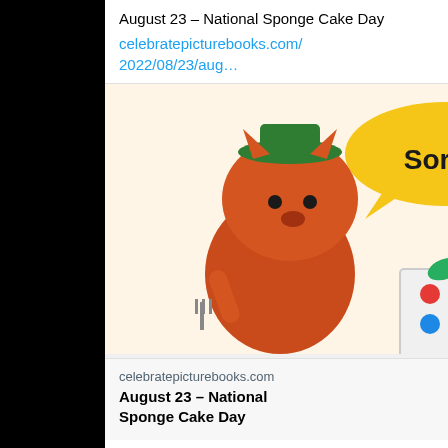August 23 – National Sponge Cake Day
celebratepicturebooks.com/2022/08/23/aug…
[Figure (illustration): Illustrated cartoon of an orange cat wearing a green hat and a hedgehog holding a gift box, with a yellow speech bubble saying 'Sorry!']
celebratepicturebooks.com
August 23 – National Sponge Cake Day
♡ 1
View more on Twitter
ⓘ Learn more about privacy on Twitter